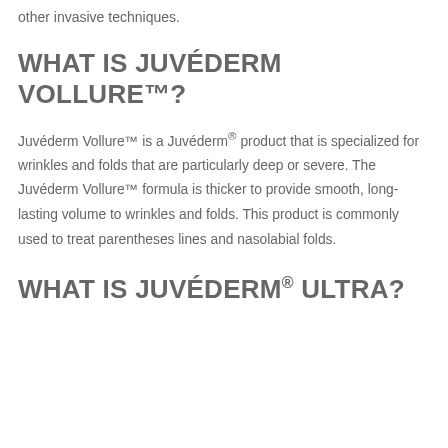other invasive techniques.
WHAT IS JUVÉDERM VOLLURE™?
Juvéderm Vollure™ is a Juvéderm® product that is specialized for wrinkles and folds that are particularly deep or severe. The Juvéderm Vollure™ formula is thicker to provide smooth, long-lasting volume to wrinkles and folds. This product is commonly used to treat parentheses lines and nasolabial folds.
WHAT IS JUVÉDERM® ULTRA?